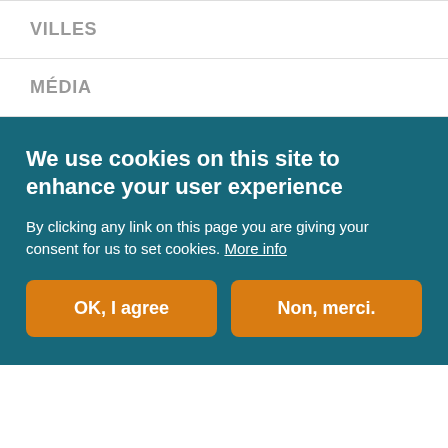VILLES
MÉDIA
We use cookies on this site to enhance your user experience
By clicking any link on this page you are giving your consent for us to set cookies. More info
OK, I agree
Non, merci.